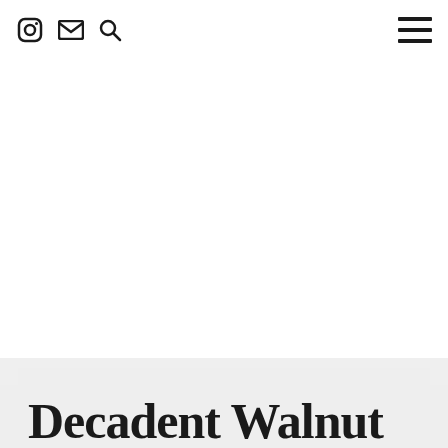Instagram, Mail, Search icons left; hamburger menu icon right
[Figure (illustration): Large white blank area representing a hero image placeholder]
Decadent Walnut